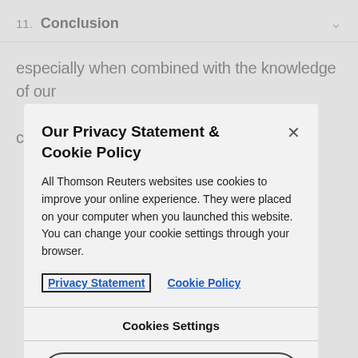11. Conclusion
especially when combined with the knowledge of our customers and partners.
Our Privacy Statement & Cookie Policy
All Thomson Reuters websites use cookies to improve your online experience. They were placed on your computer when you launched this website. You can change your cookie settings through your browser.
Privacy Statement   Cookie Policy
Cookies Settings
Accept All Cookies